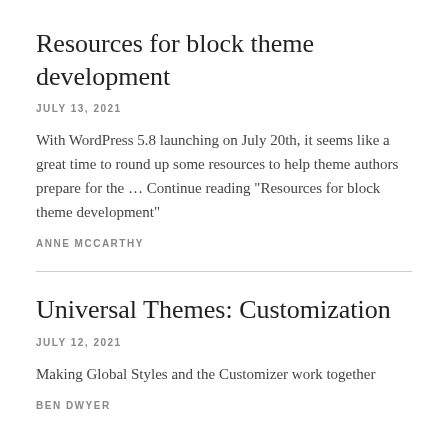Resources for block theme development
JULY 13, 2021
With WordPress 5.8 launching on July 20th, it seems like a great time to round up some resources to help theme authors prepare for the … Continue reading "Resources for block theme development"
ANNE MCCARTHY
Universal Themes: Customization
JULY 12, 2021
Making Global Styles and the Customizer work together
BEN DWYER